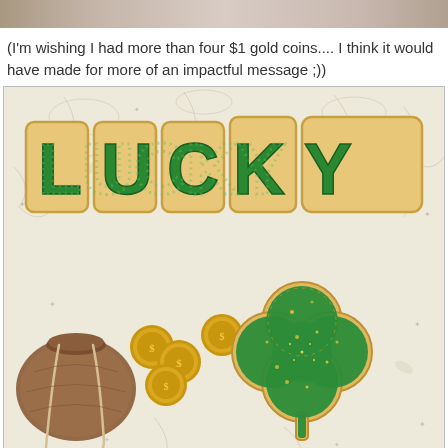[Figure (photo): Partial top portion of a photo showing cookies and decorative items, cropped at the top of the page]
(I'm wishing I had more than four $1 gold coins.... I think it would have made for more of an impactful message ;))
[Figure (photo): Photo of St. Patrick's Day themed decorated sugar cookies spelling 'LUCKY' in green icing on a floral patterned background, with a small brown suede pouch spilling out gold dollar coins, and a shamrock/clover shaped cookie decorated with green icing and gold glitter]